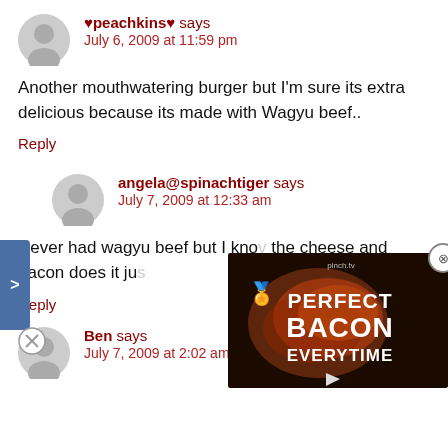♥peachkins♥ says
July 6, 2009 at 11:59 pm
Another mouthwatering burger but I'm sure its extra delicious because its made with Wagyu beef..
Reply
angela@spinachtiger says
July 7, 2009 at 12:33 am
Never had wagyu beef but I kno... the cheese and bacon does it ju...
Reply
[Figure (other): Video overlay thumbnail showing 'PERFECT BACON EVERYTIME' with a food photo and play button]
Ben says
July 7, 2009 at 2:02 am